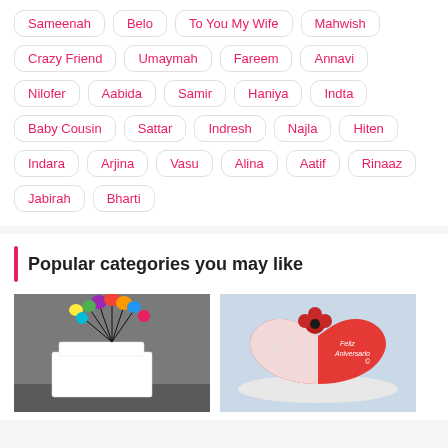Sameenah
Belo
To You My Wife
Mahwish
Crazy Friend
Umaymah
Fareem
Annavi
Nilofer
Aabida
Samir
Haniya
Indta
Baby Cousin
Sattar
Indresh
Najla
Hiten
Indara
Arjina
Vasu
Alina
Aatif
Rinaaz
Jabirah
Bharti
Popular categories you may like
[Figure (photo): White square cake decorated with colorful balloon-shaped decorations made of fondant in various colors on a gray/dark background]
[Figure (photo): Red heart-shaped anniversary cake with white lace decoration and a red flower on top, text reads 'Feliz Aniversario']